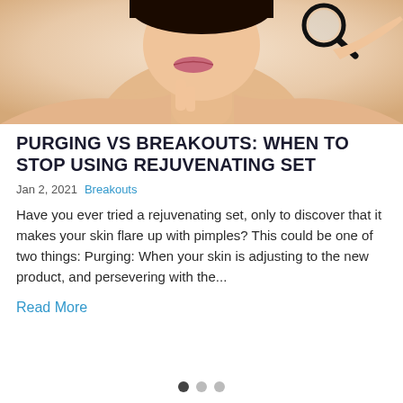[Figure (photo): Woman with skin pointing to her chin while holding a magnifying glass, against a light beige/nude background]
PURGING VS BREAKOUTS: WHEN TO STOP USING REJUVENATING SET
Jan 2, 2021   Breakouts
Have you ever tried a rejuvenating set, only to discover that it makes your skin flare up with pimples? This could be one of two things: Purging: When your skin is adjusting to the new product, and persevering with the...
Read More